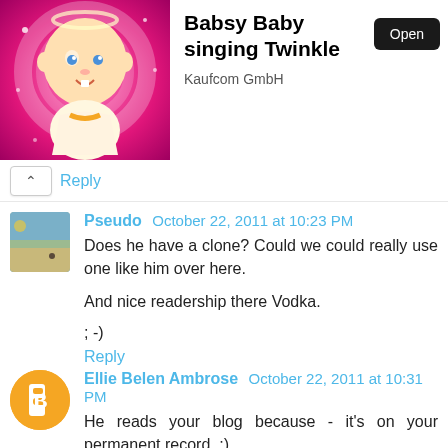[Figure (screenshot): App advertisement banner for 'Babsy Baby singing Twinkle' by Kaufcom GmbH with an Open button and a cartoon baby image on pink background]
Reply
Pseudo October 22, 2011 at 10:23 PM
Does he have a clone? Could we could really use one like him over here.

And nice readership there Vodka.

; -)

Reply
Ellie Belen Ambrose October 22, 2011 at 10:31 PM
He reads your blog because - it's on your permanent record. ;)